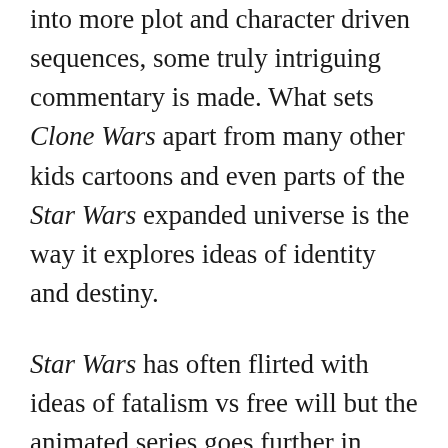into more plot and character driven sequences, some truly intriguing commentary is made. What sets Clone Wars apart from many other kids cartoons and even parts of the Star Wars expanded universe is the way it explores ideas of identity and destiny.
Star Wars has often flirted with ideas of fatalism vs free will but the animated series goes further in looking at Anakin's perception of himself as being the decisive factor in his turning to the dark side. Meanwhile it also brings in some interesting parallels as it sets up